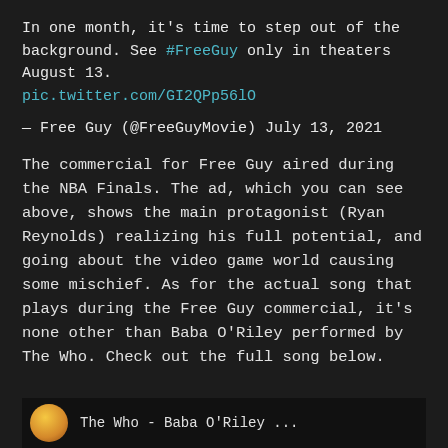In one month, it's time to step out of the background. See #FreeGuy only in theaters August 13. pic.twitter.com/GI2QPp56lO
— Free Guy (@FreeGuyMovie) July 13, 2021
The commercial for Free Guy aired during the NBA Finals. The ad, which you can see above, shows the main protagonist (Ryan Reynolds) realizing his full potential, and going about the video game world causing some mischief. As for the actual song that plays during the Free Guy commercial, it's none other than Baba O'Riley performed by The Who. Check out the full song below.
[Figure (screenshot): Thumbnail of a video showing 'The Who - Baba O'Riley' with a partial circular profile image visible]